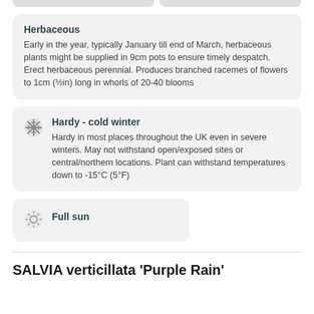Herbaceous
Early in the year, typically January till end of March, herbaceous plants might be supplied in 9cm pots to ensure timely despatch. Erect herbaceous perennial. Produces branched racemes of flowers to 1cm (½in) long in whorls of 20-40 blooms
Hardy - cold winter
Hardy in most places throughout the UK even in severe winters. May not withstand open/exposed sites or central/northern locations. Plant can withstand temperatures down to -15°C (5°F)
Full sun
SALVIA verticillata 'Purple Rain'
Add To Wishlist